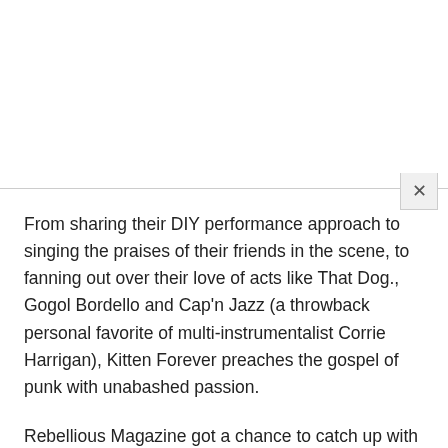From sharing their DIY performance approach to singing the praises of their friends in the scene, to fanning out over their love of acts like That Dog., Gogol Bordello and Cap'n Jazz (a throwback personal favorite of multi-instrumentalist Corrie Harrigan), Kitten Forever preaches the gospel of punk with unabashed passion.
Rebellious Magazine got a chance to catch up with the band – comprised of Corrie Harrigan, and more, El...